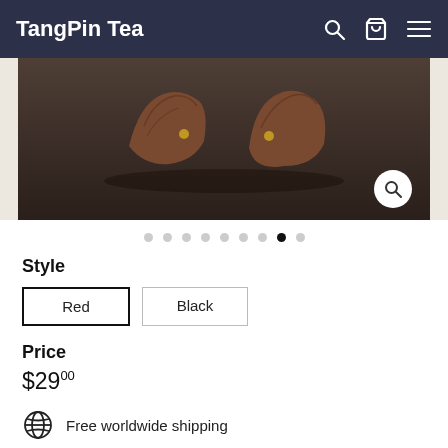TangPin Tea
[Figure (photo): Product image of a dark reddish-brown tea accessory on a dark surface, with zoom icon and navigation dots]
Style
Red | Black
Price
$29.00
Free worldwide shipping
Free returns
Carbon neutral